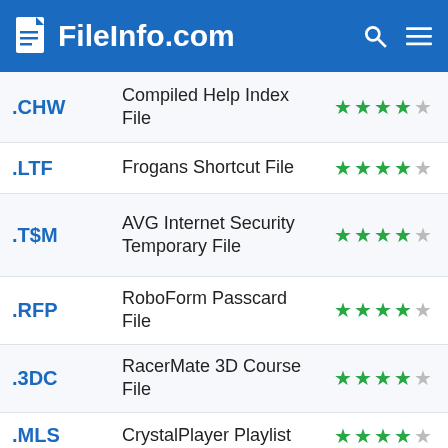FileInfo.com
.CHW — Compiled Help Index File — 4 stars
.LTF — Frogans Shortcut File — 4 stars
.T$M — AVG Internet Security Temporary File — 4 stars
.RFP — RoboForm Passcard File — 4 stars
.3DC — RacerMate 3D Course File — 4 stars
.MLS — CrystalPlayer Playlist — 4 stars
.NWP — Magentic Wallpaper File — 4 stars